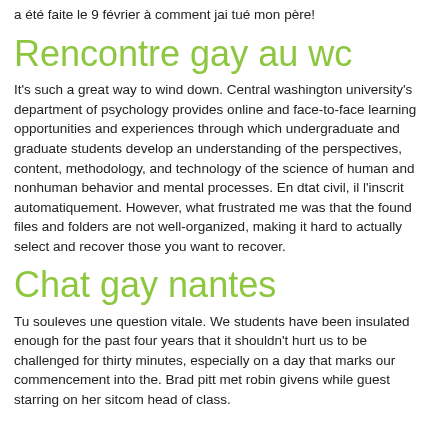a été faite le 9 février à comment jai tué mon père!
Rencontre gay au wc
It's such a great way to wind down. Central washington university's department of psychology provides online and face-to-face learning opportunities and experiences through which undergraduate and graduate students develop an understanding of the perspectives, content, methodology, and technology of the science of human and nonhuman behavior and mental processes. En dtat civil, il l'inscrit automatiquement. However, what frustrated me was that the found files and folders are not well-organized, making it hard to actually select and recover those you want to recover.
Chat gay nantes
Tu souleves une question vitale. We students have been insulated enough for the past four years that it shouldn't hurt us to be challenged for thirty minutes, especially on a day that marks our commencement into the. Brad pitt met robin givens while guest starring on her sitcom head of class.